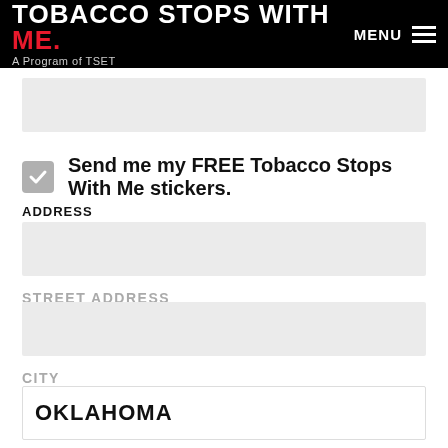TOBACCO STOPS WITH ME. A Program of TSET | MENU
[Figure (other): Partially visible input field (top of page, cropped)]
Send me my FREE Tobacco Stops With Me stickers.
ADDRESS
[Figure (other): Address input field (empty)]
STREET ADDRESS
[Figure (other): City input field (empty)]
CITY
OKLAHOMA